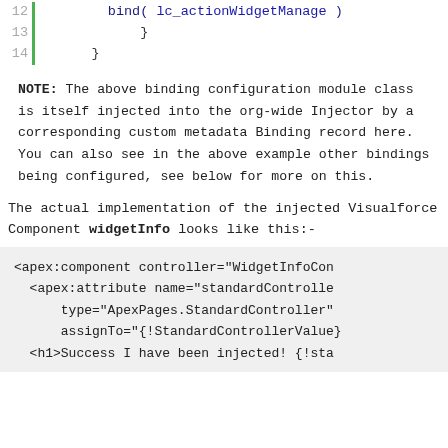[Figure (screenshot): Code snippet showing lines 12-14 with green bar indicator, containing bind(lc_actionWidgetManage), closing braces]
NOTE: The above binding configuration module class is itself injected into the org-wide Injector by a corresponding custom metadata Binding record here. You can also see in the above example other bindings being configured, see below for more on this.
The actual implementation of the injected Visualforce Component widgetInfo looks like this:-
[Figure (screenshot): Code block showing apex:component controller="WidgetInfoCon, apex:attribute name="standardControlle, type="ApexPages.StandardController", assignTo="{!StandardControllerValue}, h1>Success I have been injected! {!sta]